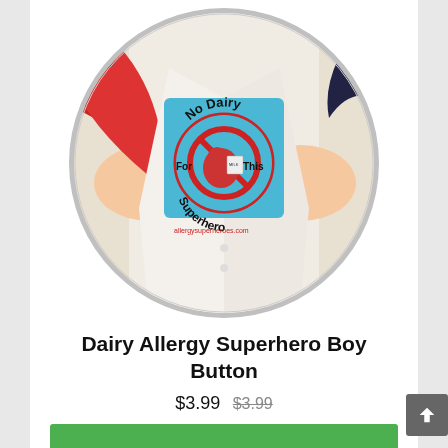[Figure (photo): A circular button/badge product showing a cartoon cow with a red 'no' symbol over it on a blue background, with text 'No Dairy For This Superhero' and the website 'allergysuperheroes.com'. The button is placed on a comic-book style image of a superhero figure opening their shirt.]
Dairy Allergy Superhero Boy Button
$3.99  $3.99